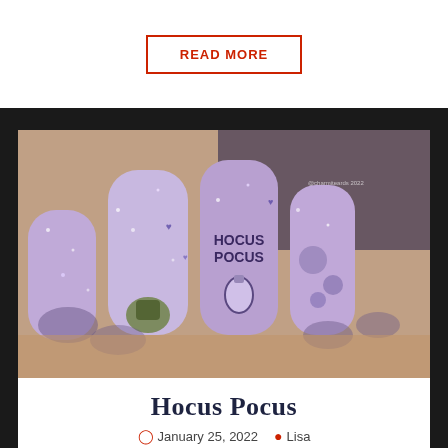READ MORE
[Figure (photo): Close-up photo of a hand with purple glitter nail art featuring Hocus Pocus text and Halloween-themed nail decorations including a witch and potion bottle]
Hocus Pocus
January 25, 2022  Lisa